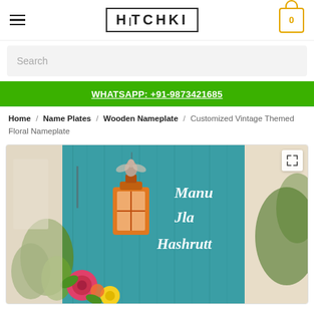HITCHKI — Navigation header with hamburger menu and cart
Search
WHATSAPP: +91-9873421685
Home / Name Plates / Wooden Nameplate / Customized Vintage Themed Floral Nameplate
[Figure (photo): Customized vintage themed floral wooden nameplate with teal wood background, colorful clay flowers (pink rose, yellow flower), orange window/lantern decoration with angel figurine on top, and white cursive names 'Manu', 'Jla', 'Hashrutt' written on the board.]